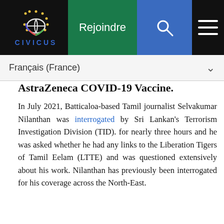CIVICUS — Navigation bar with logo, Rejoindre, search, and menu
Français (France)
AstraZeneca COVID-19 Vaccine.
In July 2021, Batticaloa-based Tamil journalist Selvakumar Nilanthan was interrogated by Sri Lankan's Terrorism Investigation Division (TID). for nearly three hours and he was asked whether he had any links to the Liberation Tigers of Tamil Eelam (LTTE) and was questioned extensively about his work. Nilanthan has previously been interrogated for his coverage across the North-East.
In August 2021, former Spokesperson of the Health Ministry Dr. Jayaruwan Bandara was summoned by the Criminal Investigation Department (CID) regarding comments he made in a television interview on the high prices of COVID-19 tests and the general handling of the pandemic. In the same month, social activist Shehan
Nous utilisons les cookies pour améliorer votre expérience sur notre site Web. En parcourant ce site, vous acceptez notre utilisation des cookies.
Ok, j'ai compris !
Je refuse
Paramètres